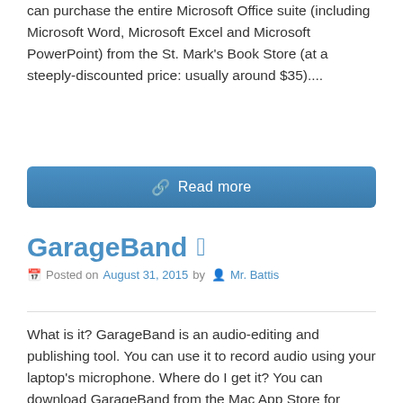can purchase the entire Microsoft Office suite (including Microsoft Word, Microsoft Excel and Microsoft PowerPoint) from the St. Mark's Book Store (at a steeply-discounted price: usually around $35)....
Read more
GarageBand
Posted on August 31, 2015 by Mr. Battis
What is it? GarageBand is an audio-editing and publishing tool. You can use it to record audio using your laptop's microphone. Where do I get it? You can download GarageBand from the Mac App Store for $4.99. But check to make sure that it's not already installed on your computer — most new Macs come...